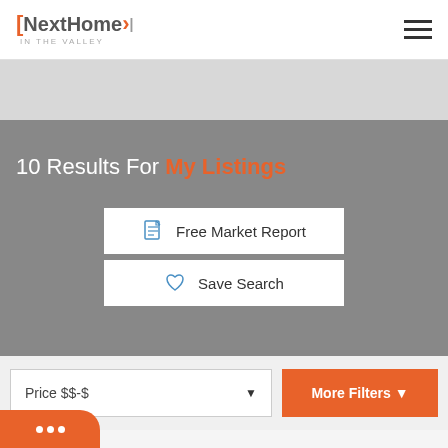NextHome IN THE VALLEY
10 Results For My Listings
Free Market Report
Save Search
Price $$-$
More Filters